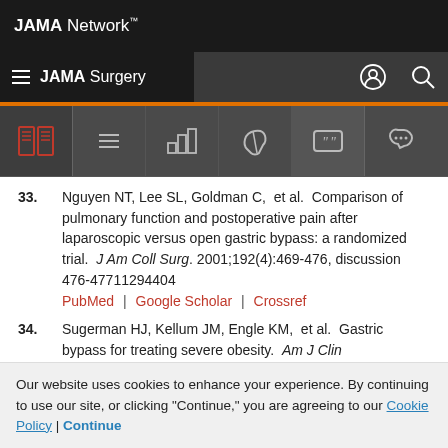JAMA Network
JAMA Surgery
33. Nguyen NT, Lee SL, Goldman C, et al. Comparison of pulmonary function and postoperative pain after laparoscopic versus open gastric bypass: a randomized trial. J Am Coll Surg. 2001;192(4):469-476, discussion 476-47711294404 PubMed | Google Scholar | Crossref
34. Sugerman HJ, Kellum JM, Engle KM, et al. Gastric bypass for treating severe obesity. Am J Clin
Our website uses cookies to enhance your experience. By continuing to use our site, or clicking "Continue," you are agreeing to our Cookie Policy | Continue